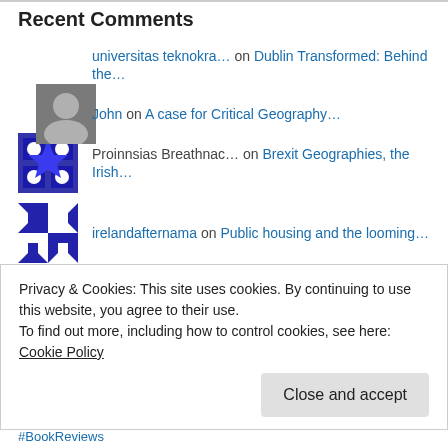Recent Comments
universitas teknokra… on Dublin Transformed: Behind the…
John on A case for Critical Geography…
Proinnsias Breathnac… on Brexit Geographies, the Irish…
irelandafternama on Public housing and the looming…
irelandafternama on Public housing and the looming…
Privacy & Cookies: This site uses cookies. By continuing to use this website, you agree to their use.
To find out more, including how to control cookies, see here: Cookie Policy
Close and accept
#BookReviews